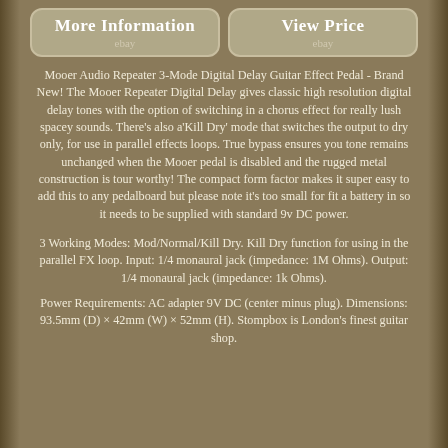[Figure (other): Two eBay buttons side by side: 'More Information ebay' and 'View Price ebay']
Mooer Audio Repeater 3-Mode Digital Delay Guitar Effect Pedal - Brand New! The Mooer Repeater Digital Delay gives classic high resolution digital delay tones with the option of switching in a chorus effect for really lush spacey sounds. There's also a'Kill Dry' mode that switches the output to dry only, for use in parallel effects loops. True bypass ensures you tone remains unchanged when the Mooer pedal is disabled and the rugged metal construction is tour worthy! The compact form factor makes it super easy to add this to any pedalboard but please note it's too small for fit a battery in so it needs to be supplied with standard 9v DC power.
3 Working Modes: Mod/Normal/Kill Dry. Kill Dry function for using in the parallel FX loop. Input: 1/4 monaural jack (impedance: 1M Ohms). Output: 1/4 monaural jack (impedance: 1k Ohms).
Power Requirements: AC adapter 9V DC (center minus plug). Dimensions: 93.5mm (D) × 42mm (W) × 52mm (H). Stompbox is London's finest guitar shop.